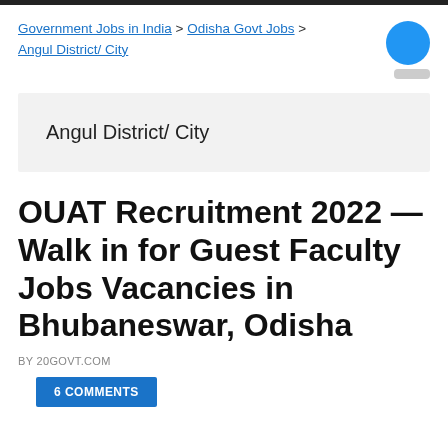Government Jobs in India > Odisha Govt Jobs > Angul District/ City
Angul District/ City
OUAT Recruitment 2022 — Walk in for Guest Faculty Jobs Vacancies in Bhubaneswar, Odisha
BY 20GOVT.COM
6 COMMENTS